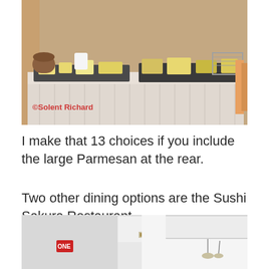[Figure (photo): A buffet table with a white skirted tablecloth displaying various cheeses and foods on dark slate boards. A red watermark reads '©Solent Richard' in the lower left.]
I make that 13 choices if you include the large Parmesan at the rear.
Two other dining options are the Sushi Sakura Restaurant…
[Figure (photo): Interior of the Sushi Sakura Restaurant showing white walls, ceiling with recessed lighting, and a red sign visible on the left wall.]